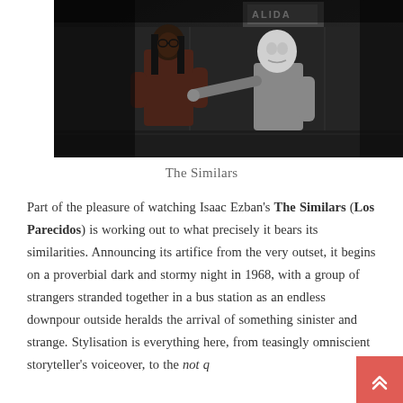[Figure (photo): A still from the film 'The Similars' (Los Parecidos) showing two figures in a dark outdoor setting, one wearing a white mask and pointing, the other in a dark coat with long hair.]
The Similars
Part of the pleasure of watching Isaac Ezban's The Similars (Los Parecidos) is working out to what precisely it bears its similarities. Announcing its artifice from the very outset, it begins on a proverbial dark and stormy night in 1968, with a group of strangers stranded together in a bus station as an endless downpour outside heralds the arrival of something sinister and strange. Stylisation is everything here, from teasingly omniscient storyteller's voiceover, to the not q...